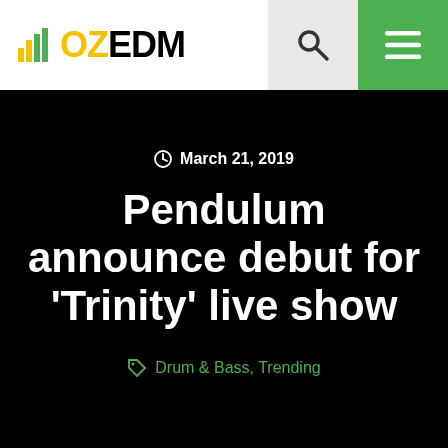OZEDM
March 21, 2019
Pendulum announce debut for 'Trinity' live show
Drum & Bass, Trending